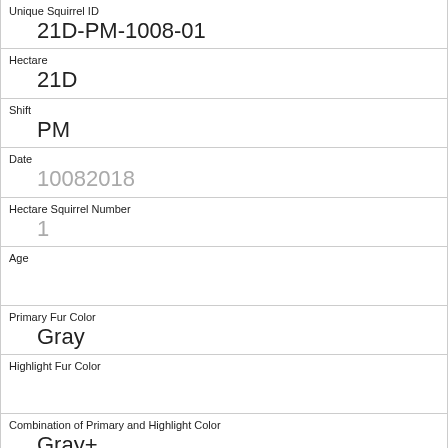| Unique Squirrel ID | 21D-PM-1008-01 |
| Hectare | 21D |
| Shift | PM |
| Date | 10082018 |
| Hectare Squirrel Number | 1 |
| Age |  |
| Primary Fur Color | Gray |
| Highlight Fur Color |  |
| Combination of Primary and Highlight Color | Gray+ |
| Color notes |  |
| Location |  |